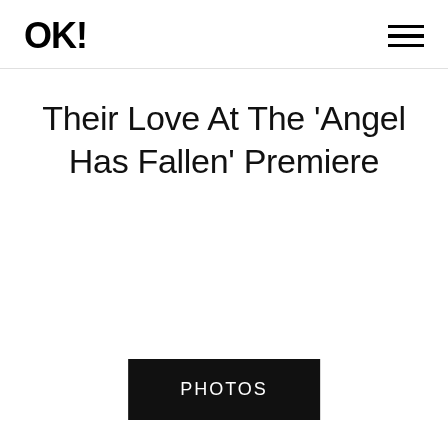OK!
Their Love At The 'Angel Has Fallen' Premiere
PHOTOS